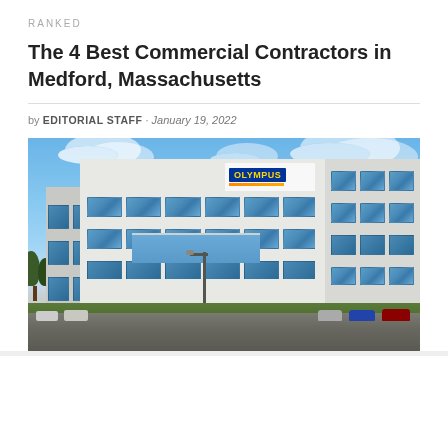RANKED
The 4 Best Commercial Contractors in Medford, Massachusetts
by EDITORIAL STAFF · January 19, 2022
[Figure (photo): Exterior photo of a modern multi-story commercial office building with glass windows, white facade, and an Olympus sign on the front. Blue sky with clouds in the background, parking lot with cars visible at the bottom.]